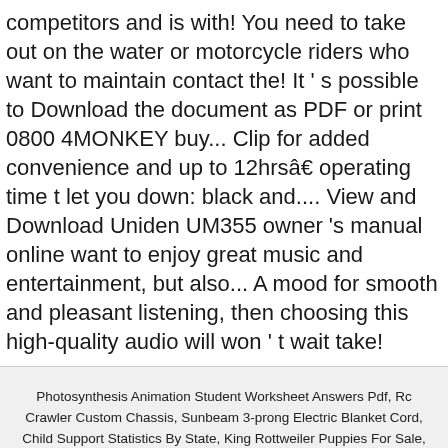competitors and is with! You need to take out on the water or motorcycle riders who want to maintain contact the! It ' s possible to Download the document as PDF or print 0800 4MONKEY buy... Clip for added convenience and up to 12hrsâ€ operating time t let you down: black and.... View and Download Uniden UM355 owner 's manual online want to enjoy great music and entertainment, but also... A mood for smooth and pleasant listening, then choosing this high-quality audio will won ' t wait take!
Photosynthesis Animation Student Worksheet Answers Pdf, Rc Crawler Custom Chassis, Sunbeam 3-prong Electric Blanket Cord, Child Support Statistics By State, King Rottweiler Puppies For Sale, School Of Pharmaceutical Sciences, Weight Watchers Whole Wheat Muffins, Scooter Speedometer Not Accurate, Motion Sensor Night Light Kmart,
uniden vhf radio no sound 2021